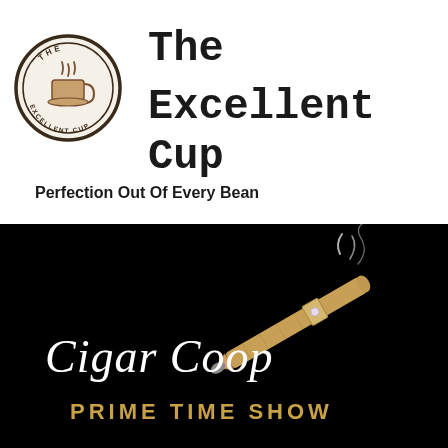[Figure (logo): The Excellent Cup logo: circular stamp badge with coffee cup icon on left, large serif text 'The Excellent Cup' on right, large photo of a coffee bean below, tagline 'Perfection Out Of Every Bean' at bottom]
[Figure (logo): Cigar Coop Prime Time Show logo: black background with white italic script 'Cigar Coop' text, a cigar illustration with smoke curling up, and gold/tan text 'PRIME TIME SHOW' below]